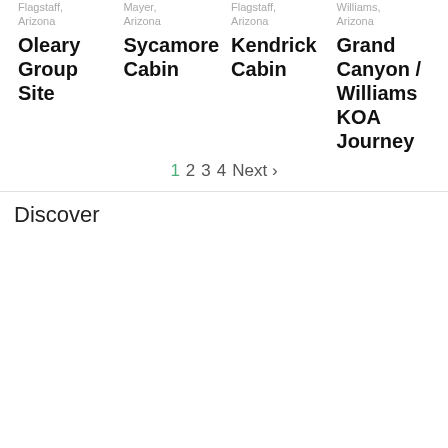Flagstaff, Arizona
Oleary Group Site
Mayer, Arizona
Sycamore Cabin
Flagstaff, Arizona
Kendrick Cabin
Williams, Arizona
Grand Canyon / Williams KOA Journey
1 2 3 4 Next ›
Discover